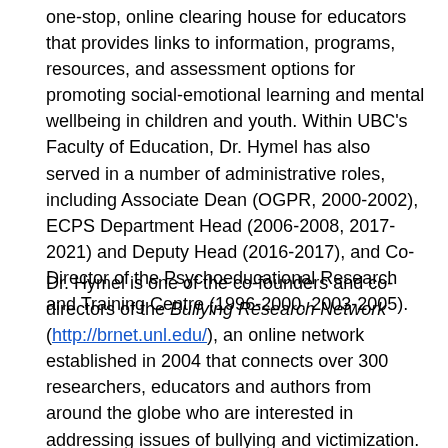one-stop, online clearing house for educators that provides links to information, programs, resources, and assessment options for promoting social-emotional learning and mental wellbeing in children and youth. Within UBC's Faculty of Education, Dr. Hymel has also served in a number of administrative roles, including Associate Dean (OGPR, 2000-2002), ECPS Department Head (2006-2008, 2017-2021) and Deputy Head (2016-2017), and Co-Director of the Psychoeducational Research and Training Centre (1996-2000, 2003-2005).
Dr. Hymel is one of the co-founders and co-directors of the Bullying Research Network (http://brnet.unl.edu/), an online network established in 2004 that connects over 300 researchers, educators and authors from around the globe who are interested in addressing issues of bullying and victimization. Within the broader professional community, Dr. Hymel has served as a member of the executive team of PREVNet (www.prevent.ca), Canada's national organization for "Promoting Relationships and Eliminating Violence" and on the Board of Directors for the BC Crisis Centre in Vancouver